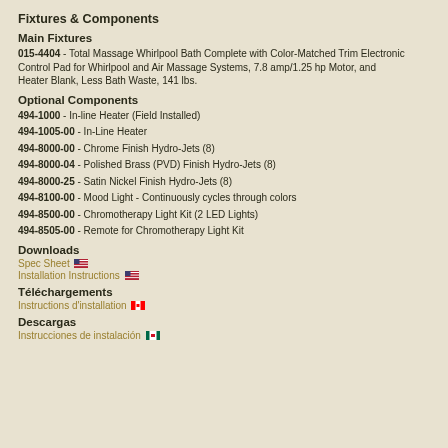Fixtures & Components
Main Fixtures
015-4404 - Total Massage Whirlpool Bath Complete with Color-Matched Trim Electronic Control Pad for Whirlpool and Air Massage Systems, 7.8 amp/1.25 hp Motor, and Heater Blank, Less Bath Waste, 141 lbs.
Optional Components
494-1000 - In-line Heater (Field Installed)
494-1005-00 - In-Line Heater
494-8000-00 - Chrome Finish Hydro-Jets (8)
494-8000-04 - Polished Brass (PVD) Finish Hydro-Jets (8)
494-8000-25 - Satin Nickel Finish Hydro-Jets (8)
494-8100-00 - Mood Light - Continuously cycles through colors
494-8500-00 - Chromotherapy Light Kit (2 LED Lights)
494-8505-00 - Remote for Chromotherapy Light Kit
Downloads
Spec Sheet 🇺🇸
Installation Instructions 🇺🇸
Téléchargements
Instructions d'installation 🇨🇦
Descargas
Instrucciones de instalación 🇲🇽